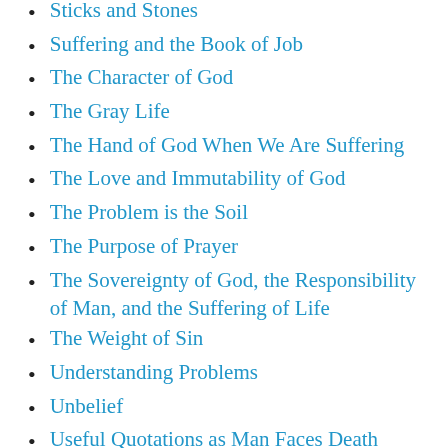Sticks and Stones
Suffering and the Book of Job
The Character of God
The Gray Life
The Hand of God When We Are Suffering
The Love and Immutability of God
The Problem is the Soil
The Purpose of Prayer
The Sovereignty of God, the Responsibility of Man, and the Suffering of Life
The Weight of Sin
Understanding Problems
Unbelief
Useful Quotations as Man Faces Death
Useful Quotations on the Meaning of Life
What About Those Who Have Never